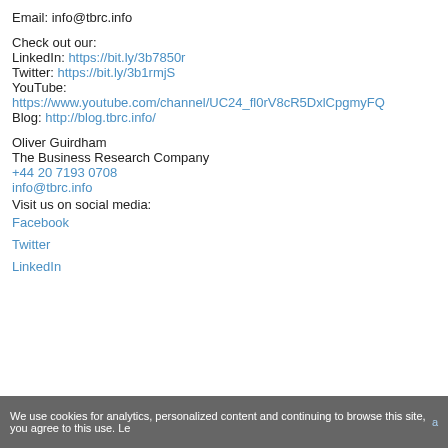Email: info@tbrc.info
Check out our:
LinkedIn: https://bit.ly/3b7850r
Twitter: https://bit.ly/3b1rmjS
YouTube: https://www.youtube.com/channel/UC24_fl0rV8cR5DxlCpgmyFQ
Blog: http://blog.tbrc.info/
Oliver Guirdham
The Business Research Company
+44 20 7193 0708
info@tbrc.info
Visit us on social media:
Facebook
Twitter
LinkedIn
We use cookies for analytics, personalized content and continuing to browse this site, you agree to this use. Le...